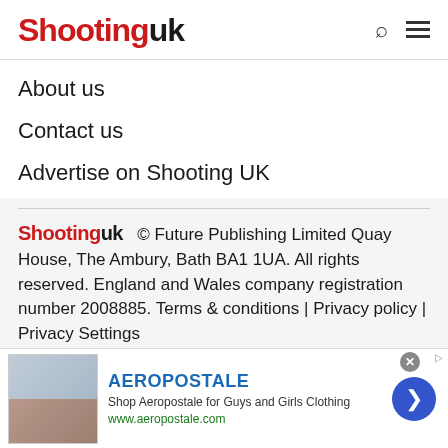Shooting uk
About us
Contact us
Advertise on Shooting UK
Shooting uk © Future Publishing Limited Quay House, The Ambury, Bath BA1 1UA. All rights reserved. England and Wales company registration number 2008885. Terms & conditions | Privacy policy | Privacy Settings
[Figure (other): Partial view of a circular logo at bottom of page]
[Figure (other): Advertisement banner for Aeropostale - Shop Aeropostale for Guys and Girls Clothing, www.aeropostale.com]